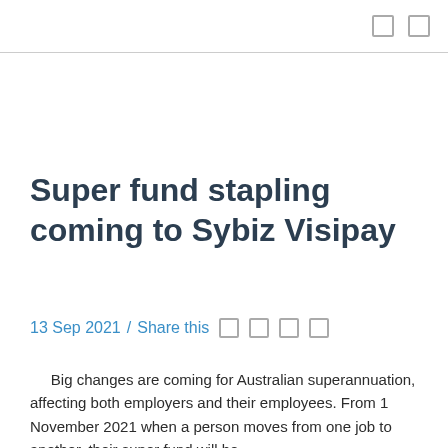[ icon ] [ icon ]
Super fund stapling coming to Sybiz Visipay
13 Sep 2021 / Share this [ ] [ ] [ ] [ ]
Big changes are coming for Australian superannuation, affecting both employers and their employees. From 1 November 2021 when a person moves from one job to another, their super fund will be